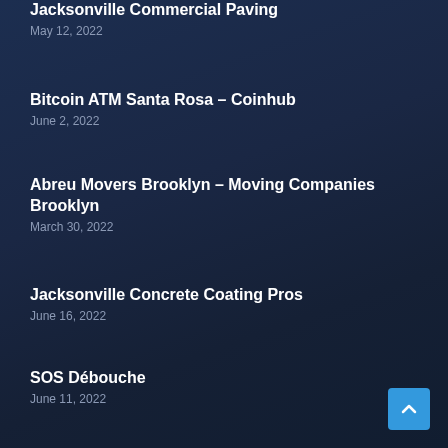Jacksonville Commercial Paving
May 12, 2022
Bitcoin ATM Santa Rosa – Coinhub
June 2, 2022
Abreu Movers Brooklyn – Moving Companies Brooklyn
March 30, 2022
Jacksonville Concrete Coating Pros
June 16, 2022
SOS Débouche
June 11, 2022